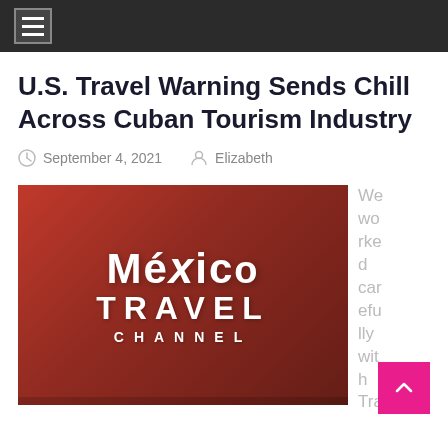navigation bar with hamburger menu
U.S. Travel Warning Sends Chill Across Cuban Tourism Industry
September 4, 2021  Elizabeth
[Figure (logo): México Travel Channel logo on red gradient background]
We worked carefully with Tra